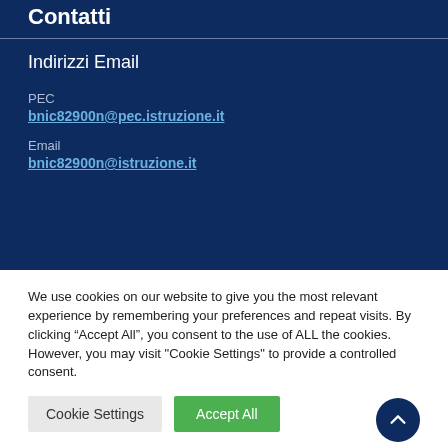Contatti
Indirizzi Email
PEC
bnic82900n@pec.istruzione.it
Email
bnic82900n@istruzione.it
We use cookies on our website to give you the most relevant experience by remembering your preferences and repeat visits. By clicking “Accept All”, you consent to the use of ALL the cookies. However, you may visit "Cookie Settings" to provide a controlled consent.
Cookie Settings | Accept All